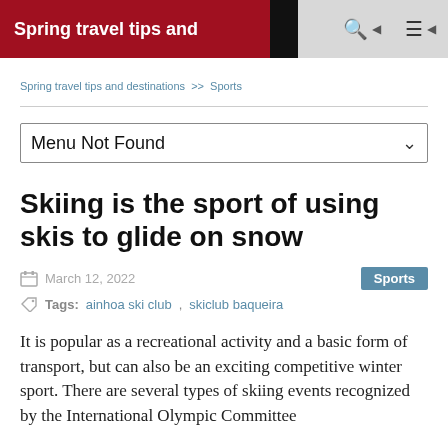Spring travel tips and
Spring travel tips and destinations >> Sports
Menu Not Found
Skiing is the sport of using skis to glide on snow
March 12, 2022   Sports
Tags: ainhoa ski club, skiclub baqueira
It is popular as a recreational activity and a basic form of transport, but can also be an exciting competitive winter sport. There are several types of skiing events recognized by the International Olympic Committee